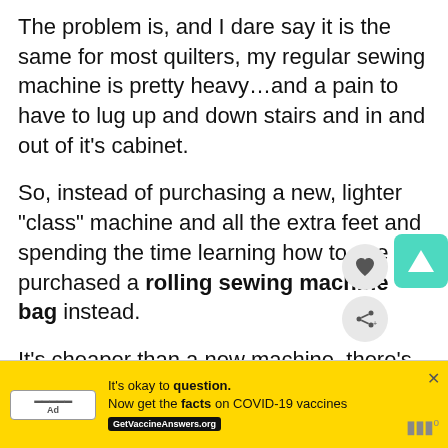The problem is, and I dare say it is the same for most quilters, my regular sewing machine is pretty heavy…and a pain to have to lug up and down stairs and in and out of it's cabinet.
So, instead of purchasing a new, lighter "class" machine and all the extra feet and spending the time learning how to use it, I purchased a rolling sewing machine bag instead.
It's cheaper than a new machine, there's nothing extra to buy, nothing extra to learn. And it makes lugging my favorite Viking Designer I so much easier!
[Figure (other): UI overlay icons: teal triangle button, heart icon button, share icon button]
[Figure (other): Advertisement banner: yellow background, COVID-19 vaccine information ad with GetVaccineAnswers.org badge]